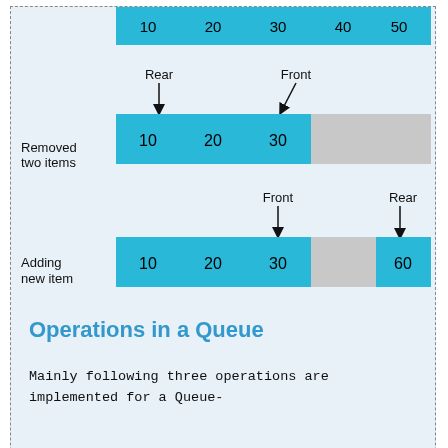[Figure (infographic): Diagram showing circular queue states: top row partially visible with values 10,20,30,40,50 in blue cells. Middle row labeled 'Removed two items' with Rear pointer at index 0 and Front pointer at index 2, showing cells 10,20,30 in blue and two gray empty cells. Bottom row labeled 'Adding new item' with Front pointer at index 2 and Rear pointer at last index, showing cells 10,20,30 in blue, one gray empty cell, and 60 in blue.]
Operations in a Queue
Mainly following three operations are implemented for a Queue-